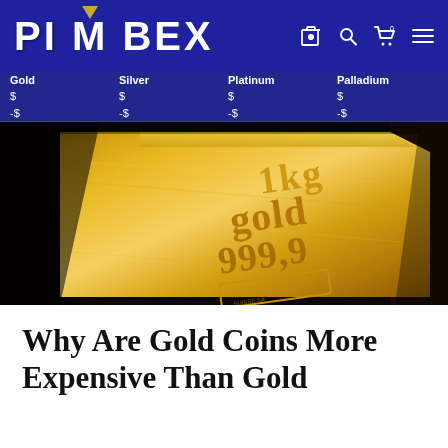PIMBEX
Gold $ -$   Silver $ -$   Platinum $ -$   Palladium $ -$
[Figure (photo): Close-up photograph of a 1kg gold bar stamped with '1kg gold 999.9' and a refinery logo, on a dark background]
Why Are Gold Coins More Expensive Than Gold